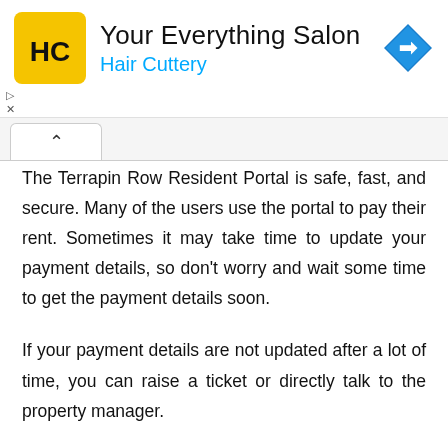[Figure (logo): Hair Cuttery advertisement banner with yellow square logo showing 'HC' letters, title 'Your Everything Salon', subtitle 'Hair Cuttery' in blue, and a blue navigation arrow icon on the right]
The Terrapin Row Resident Portal is safe, fast, and secure. Many of the users use the portal to pay their rent. Sometimes it may take time to update your payment details, so don't worry and wait some time to get the payment details soon.
If your payment details are not updated after a lot of time, you can raise a ticket or directly talk to the property manager.
About Terrapin Row